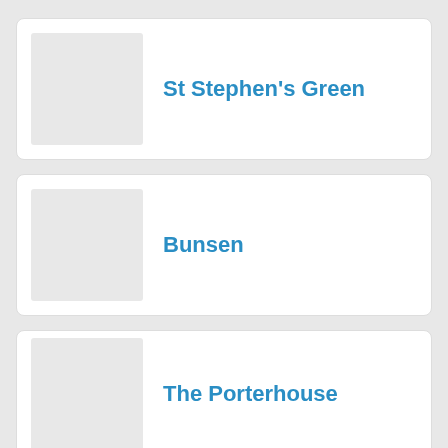St Stephen's Green
Bunsen
The Porterhouse